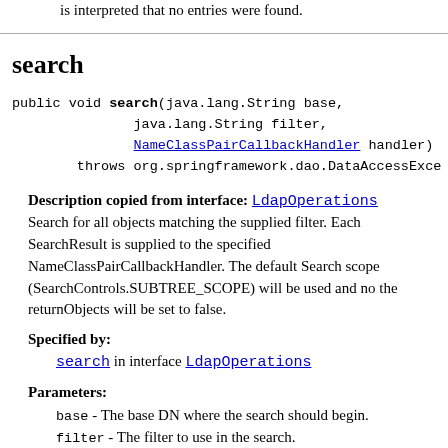NameNotFoundException will be ignored. Instead this is interpreted that no entries were found.
search
public void search(java.lang.String base,
                   java.lang.String filter,
                   NameClassPairCallbackHandler handler)
          throws org.springframework.dao.DataAccessException
Description copied from interface: LdapOperations
Search for all objects matching the supplied filter. Each SearchResult is supplied to the specified NameClassPairCallbackHandler. The default Search scope (SearchControls.SUBTREE_SCOPE) will be used and no the returnObjects will be set to false.
Specified by:
    search in interface LdapOperations
Parameters:
    base - The base DN where the search should begin.
    filter - The filter to use in the search.
    handler - The NameClassPairCallbackHandler to supply the SearchResults to.